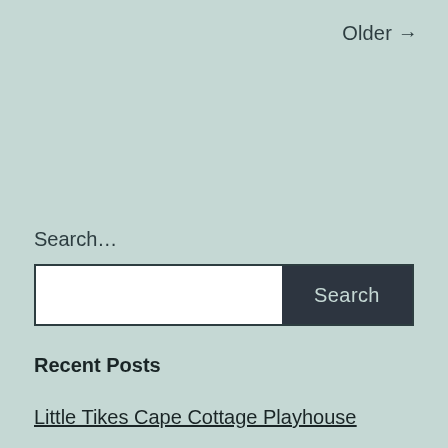Older →
Search…
[Figure (other): Search bar with white text input field and dark 'Search' button]
Recent Posts
Little Tikes Cape Cottage Playhouse